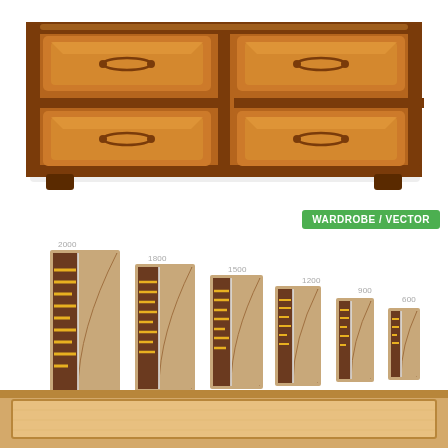[Figure (illustration): Cartoon illustration of a brown wooden dresser with four drawers (2x2 grid), each with a horizontal bar handle. The dresser has a dark brown border and small rectangular feet at the bottom.]
[Figure (illustration): Six wardrobe/closet illustrations shown in decreasing size order, labeled 2000, 1800, 1500, 1200, 900, 600. Each shows an open wardrobe with yellow/orange horizontal shelving lines and a light wood panel door partially open. A green badge reads 'WARDROBE / VECTOR'.]
[Figure (illustration): Partial view of a light-wood colored flat-pack furniture piece (dresser or bed frame) at the bottom of the page, showing a rectangular panel with frame border.]